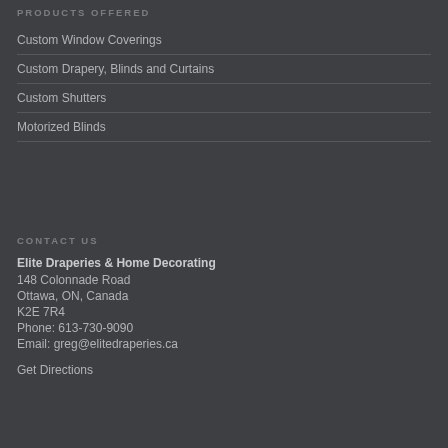PRODUCTS OFFERED
Custom Window Coverings
Custom Drapery, Blinds and Curtains
Custom Shutters
Motorized Blinds
CONTACT US
Elite Draperies & Home Decorating
148 Colonnade Road
Ottawa, ON, Canada
K2E 7R4
Phone: 613-730-9090
Email: greg@elitedraperies.ca
Get Directions